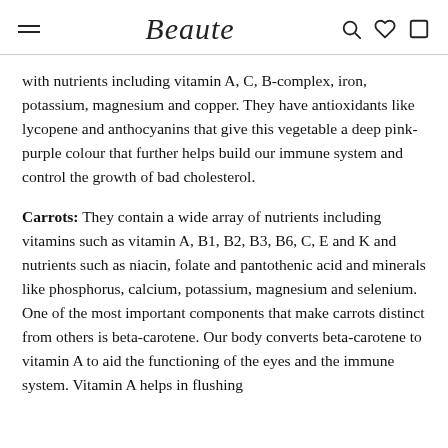Beaute
with nutrients including vitamin A, C, B-complex, iron, potassium, magnesium and copper. They have antioxidants like lycopene and anthocyanins that give this vegetable a deep pink-purple colour that further helps build our immune system and control the growth of bad cholesterol.
Carrots: They contain a wide array of nutrients including vitamins such as vitamin A, B1, B2, B3, B6, C, E and K and nutrients such as niacin, folate and pantothenic acid and minerals like phosphorus, calcium, potassium, magnesium and selenium. One of the most important components that make carrots distinct from others is beta-carotene. Our body converts beta-carotene to vitamin A to aid the functioning of the eyes and the immune system. Vitamin A helps in flushing